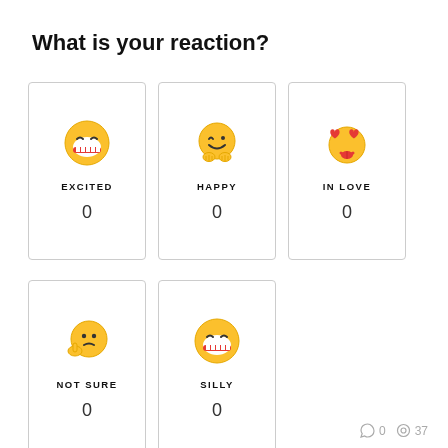What is your reaction?
[Figure (infographic): Reaction widget with 5 emoji cards: EXCITED (0), HAPPY (0), IN LOVE (0), NOT SURE (0), SILLY (0)]
0  37